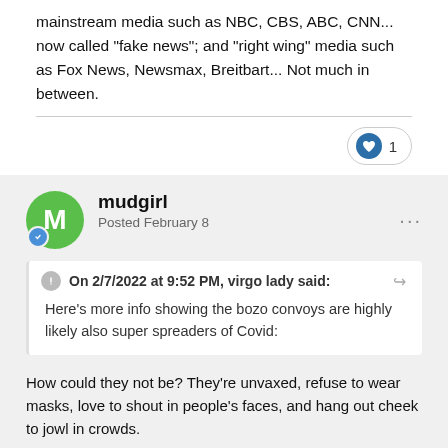mainstream media such as NBC, CBS, ABC, CNN... now called "fake news"; and "right wing" media such as Fox News, Newsmax, Breitbart... Not much in between.
[Figure (other): Like button with heart icon showing count of 1]
mudgirl
Posted February 8
On 2/7/2022 at 9:52 PM, virgo lady said:
Here's more info showing the bozo convoys are highly likely also super spreaders of Covid:
How could they not be? They're unvaxed, refuse to wear masks, love to shout in people's faces, and hang out cheek to jowl in crowds.